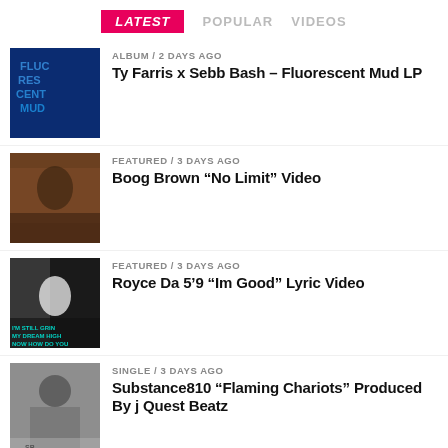LATEST  POPULAR  VIDEOS
[Figure (photo): Album cover for Fluorescent Mud LP - blue glowing text on dark background]
ALBUM / 2 days ago
Ty Farris x Sebb Bash – Fluorescent Mud LP
[Figure (photo): Photo of Boog Brown sitting indoors]
FEATURED / 3 days ago
Boog Brown "No Limit" Video
[Figure (photo): Royce Da 5'9 lyric video still with text overlay]
FEATURED / 3 days ago
Royce Da 5'9 “Im Good” Lyric Video
[Figure (photo): Photo of Substance810 wearing a hat]
SINGLE / 3 days ago
Substance810 “Flaming Chariots” Produced By j Quest Beatz